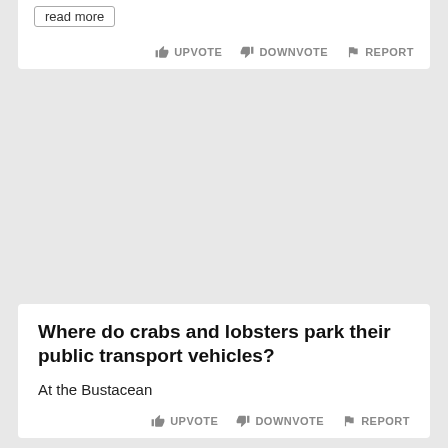read more
UPVOTE  DOWNVOTE  REPORT
Where do crabs and lobsters park their public transport vehicles?
At the Bustacean
UPVOTE  DOWNVOTE  REPORT